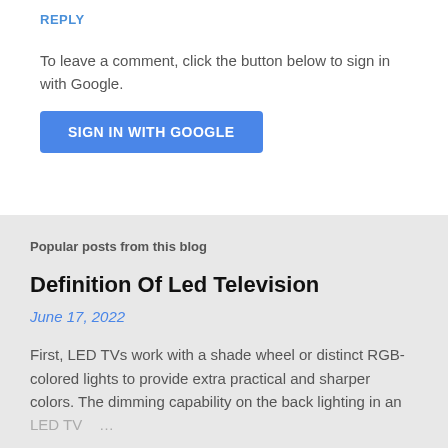REPLY
To leave a comment, click the button below to sign in with Google.
SIGN IN WITH GOOGLE
Popular posts from this blog
Definition Of Led Television
June 17, 2022
First, LED TVs work with a shade wheel or distinct RGB-colored lights to provide extra practical and sharper colors. The dimming capability on the back lighting in an LED TV ...